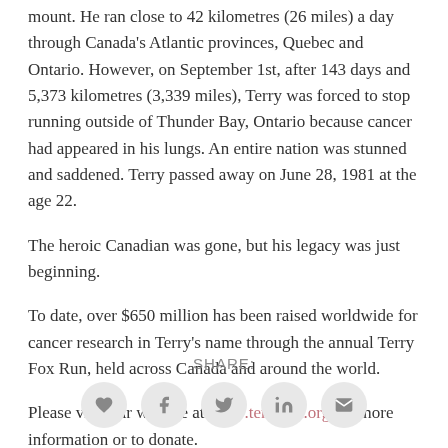mount. He ran close to 42 kilometres (26 miles) a day through Canada's Atlantic provinces, Quebec and Ontario. However, on September 1st, after 143 days and 5,373 kilometres (3,339 miles), Terry was forced to stop running outside of Thunder Bay, Ontario because cancer had appeared in his lungs. An entire nation was stunned and saddened. Terry passed away on June 28, 1981 at the age 22.
The heroic Canadian was gone, but his legacy was just beginning.
To date, over $650 million has been raised worldwide for cancer research in Terry's name through the annual Terry Fox Run, held across Canada and around the world.
Please visit our website at www.terryfox.org for more information or to donate.
SHARE:
[Figure (infographic): Five social sharing icon buttons in grey circles: heart (favorite), Facebook f, Twitter bird, LinkedIn in, email envelope]